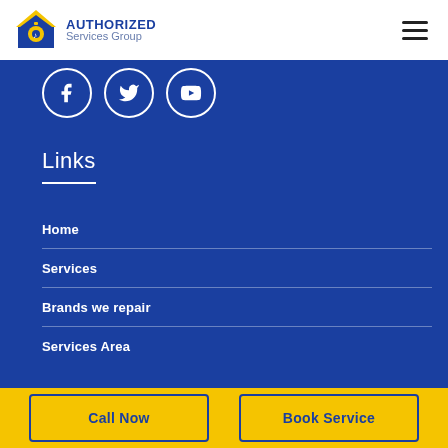[Figure (logo): Authorized Services Group logo with house icon in blue, yellow, and gold tones]
[Figure (infographic): Social media icons: Facebook, Twitter, YouTube — white outlines on blue background]
Links
Home
Services
Brands we repair
Services Area
Call Now
Book Service